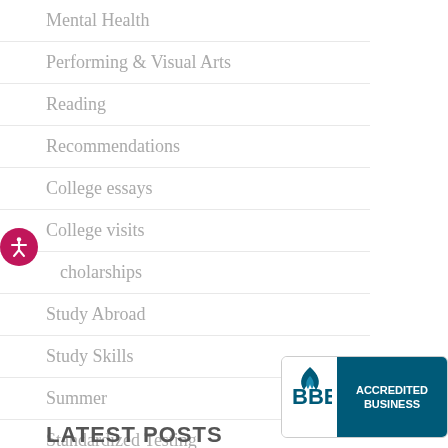Mental Health
Performing & Visual Arts
Reading
Recommendations
College essays
College visits
Scholarships
Study Abroad
Study Skills
Summer
Standardized Testing
Transition To College
LATEST POSTS
[Figure (logo): BBB Accredited Business badge with blue background and white text]